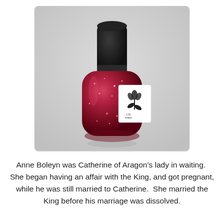[Figure (photo): A bottle of red glittery nail polish with a black cap and a white label featuring a black floral/botanical logo design, photographed against a light grey background.]
Anne Boleyn was Catherine of Aragon's lady in waiting.  She began having an affair with the King, and got pregnant, while he was still married to Catherine.  She married the King before his marriage was dissolved.